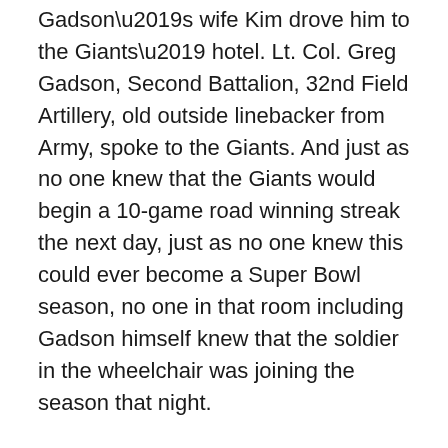Gadson’s wife Kim drove him to the Giants’ hotel. Lt. Col. Greg Gadson, Second Battalion, 32nd Field Artillery, old outside linebacker from Army, spoke to the Giants. And just as no one knew that the Giants would begin a 10-game road winning streak the next day, just as no one knew this could ever become a Super Bowl season, no one in that room including Gadson himself knew that the soldier in the wheelchair was joining the season that night.
“I just spoke from the heart, as a soldier and as a former football player,” he said, “for about 10 or 15 minutes. I talked to them about appreciating the opportunities in their lives, how special and privileged they were, how everybody needs to understand what they truly have. And I talked to them about the power of sports in people’s lives, especially soldiers’ lives, how many times I’d watched